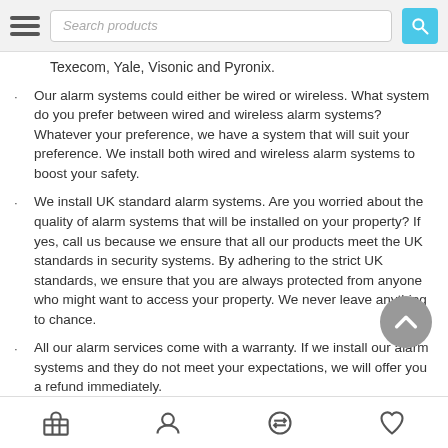Search products
Texecom, Yale, Visonic and Pyronix.
Our alarm systems could either be wired or wireless. What system do you prefer between wired and wireless alarm systems? Whatever your preference, we have a system that will suit your preference. We install both wired and wireless alarm systems to boost your safety.
We install UK standard alarm systems. Are you worried about the quality of alarm systems that will be installed on your property? If yes, call us because we ensure that all our products meet the UK standards in security systems. By adhering to the strict UK standards, we ensure that you are always protected from anyone who might want to access your property. We never leave anything to chance.
All our alarm services come with a warranty. If we install our alarm systems and they do not meet your expectations, we will offer you a refund immediately.